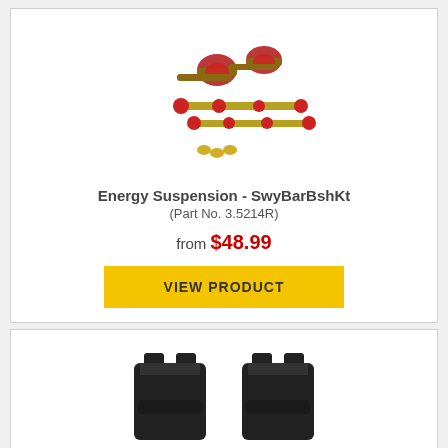[Figure (photo): Red polyurethane sway bar bushing kit with end links and hardware components from Energy Suspension]
Energy Suspension - SwyBarBshKt
(Part No. 3.5214R)
from $48.99
VIEW PRODUCT
[Figure (photo): Black rubber suspension bushings shown at bottom of page, partially visible]